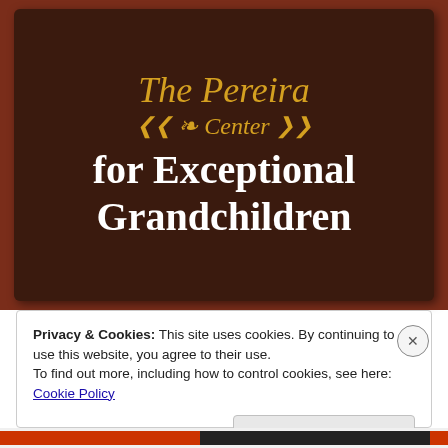[Figure (photo): A wooden sign reading 'The Pereira Center for Exceptional Grandchildren' with gold decorative script on dark brown wood background, mounted on a reddish-brown surface.]
Privacy & Cookies: This site uses cookies. By continuing to use this website, you agree to their use.
To find out more, including how to control cookies, see here: Cookie Policy